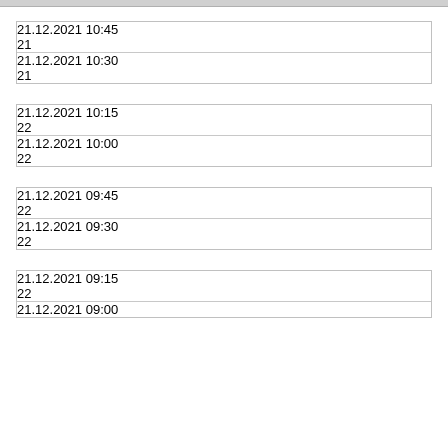| datetime | value |
| --- | --- |
| 21.12.2021 10:45 |  |
|  | 21 |
| 21.12.2021 10:30 |  |
|  | 21 |
| datetime | value |
| --- | --- |
| 21.12.2021 10:15 |  |
|  | 22 |
| 21.12.2021 10:00 |  |
|  | 22 |
| datetime | value |
| --- | --- |
| 21.12.2021 09:45 |  |
|  | 22 |
| 21.12.2021 09:30 |  |
|  | 22 |
| datetime | value |
| --- | --- |
| 21.12.2021 09:15 |  |
|  | 22 |
| 21.12.2021 09:00 |  |